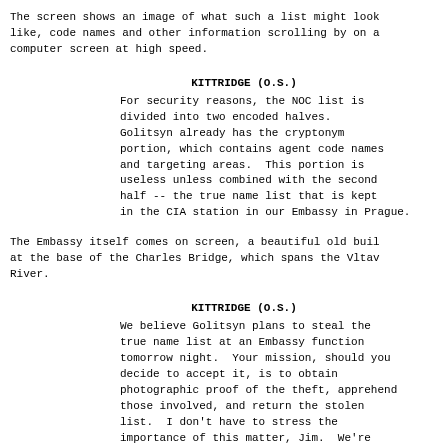The screen shows an image of what such a list might look like, code names and other information scrolling by on a computer screen at high speed.
KITTRIDGE (O.S.)
For security reasons, the NOC list is divided into two encoded halves. Golitsyn already has the cryptonym portion, which contains agent code names and targeting areas. This portion is useless unless combined with the second half -- the true name list that is kept in the CIA station in our Embassy in Prague.
The Embassy itself comes on screen, a beautiful old building at the base of the Charles Bridge, which spans the Vltava River.
KITTRIDGE (O.S.)
We believe Golitsyn plans to steal the true name list at an Embassy function tomorrow night. Your mission, should you decide to accept it, is to obtain photographic proof of the theft, apprehend those involved, and return the stolen list. I don't have to stress the importance of this matter, Jim. We're keeping it internally black. Because of its urgency, I've already sent to Prague a team selected from your usual group.
Still photographs come on screen, some of which we're al